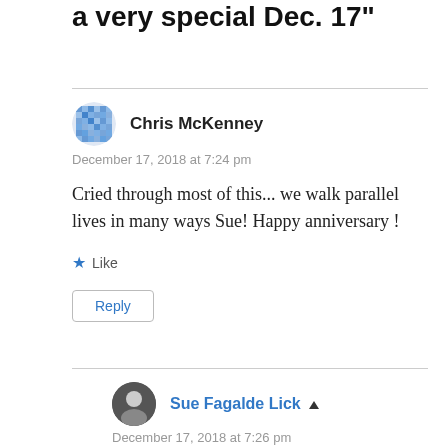a very special Dec. 17"
Chris McKenney
December 17, 2018 at 7:24 pm
Cried through most of this... we walk parallel lives in many ways Sue! Happy anniversary !
Like
Reply
Sue Fagalde Lick
December 17, 2018 at 7:26 pm